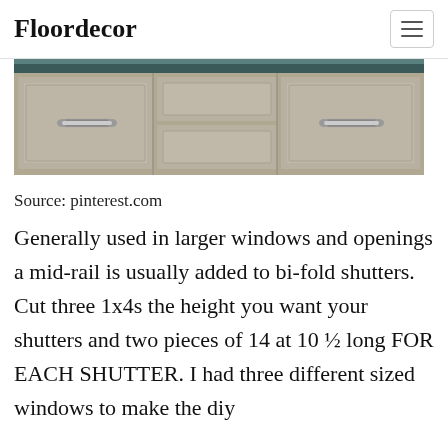Floordecor
[Figure (photo): Photo of kitchen cabinets with silver bar handles, gray-beige finish, with a dark countertop visible at top]
Source: pinterest.com
Generally used in larger windows and openings a mid-rail is usually added to bi-fold shutters. Cut three 1x4s the height you want your shutters and two pieces of 14 at 10 ½ long FOR EACH SHUTTER. I had three different sized windows to make the diy